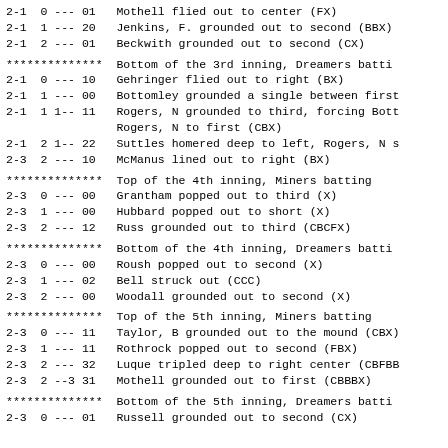2-1  0 --- 01   Mothell flied out to center (FX)
2-1  1 --- 20   Jenkins, F. grounded out to second (BBX)
2-1  2 --- 01   Beckwith grounded out to second (CX)
**************  Bottom of the 3rd inning, Dreamers batting
2-1  0 --- 10   Gehringer flied out to right (BX)
2-1  1 --- 00   Bottomley grounded a single between first
2-1  1 1-- 11   Rogers, N grounded to third, forcing Bott
                Rogers, N to first (CBX)
2-1  2 1-- 22   Suttles homered deep to left, Rogers, N s
2-3  2 --- 10   McManus lined out to right (BX)
**************  Top of the 4th inning, Miners batting
2-3  0 --- 00   Grantham popped out to third (X)
2-3  1 --- 00   Hubbard popped out to short (X)
2-3  2 --- 12   Russ grounded out to third (CBCFX)
**************  Bottom of the 4th inning, Dreamers batting
2-3  0 --- 00   Roush popped out to second (X)
2-3  1 --- 02   Bell struck out (CCC)
2-3  2 --- 00   Woodall grounded out to second (X)
**************  Top of the 5th inning, Miners batting
2-3  0 --- 11   Taylor, B grounded out to the mound (CBX)
2-3  1 --- 11   Rothrock popped out to second (FBX)
2-3  2 --- 32   Luque tripled deep to right center (CBFBB
2-3  2 --3 31   Mothell grounded out to first (CBBBX)
**************  Bottom of the 5th inning, Dreamers batting
2-3  0 --- 01   Russell grounded out to second (CX)